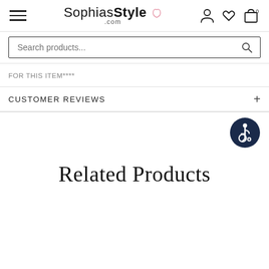[Figure (logo): SophiasStyle.com logo with hamburger menu and header icons (person, heart, shopping bag with 0)]
Search products...
FOR THIS ITEM****
CUSTOMER REVIEWS
[Figure (illustration): Accessibility icon: dark navy circle with wheelchair user symbol in white]
Related Products